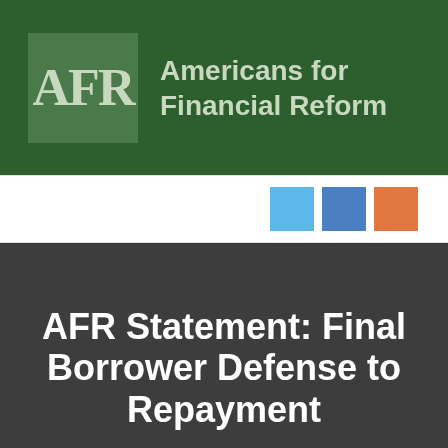[Figure (logo): Americans for Financial Reform logo — dark green banner with AFR initials in serif font and organization name in bold sans-serif]
[Figure (infographic): Navigation bar with three colored square icons: light blue, medium blue, and orange]
AFR Statement: Final Borrower Defense to Repayment